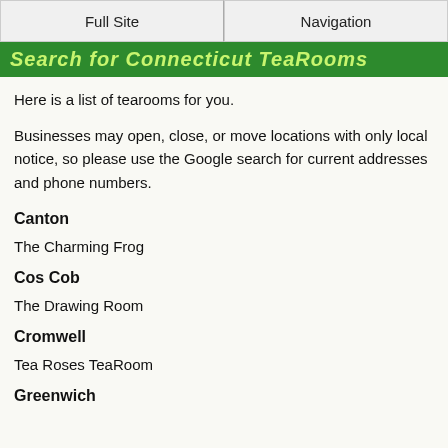Full Site | Navigation
Search for Connecticut TeaRooms
Here is a list of tearooms for you.
Businesses may open, close, or move locations with only local notice, so please use the Google search for current addresses and phone numbers.
Canton
The Charming Frog
Cos Cob
The Drawing Room
Cromwell
Tea Roses TeaRoom
Greenwich